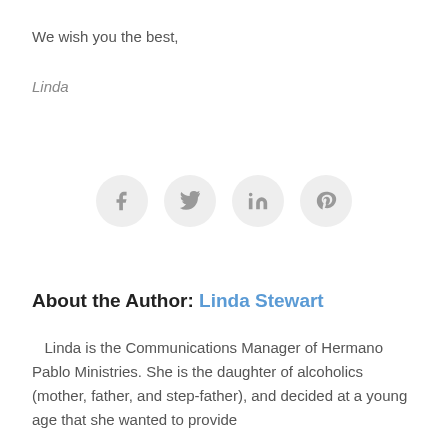We wish you the best,
Linda
[Figure (infographic): Four social media icon buttons in light gray circles: Facebook (f), Twitter (bird), LinkedIn (in), Pinterest (p)]
About the Author: Linda Stewart
Linda is the Communications Manager of Hermano Pablo Ministries. She is the daughter of alcoholics (mother, father, and step-father), and decided at a young age that she wanted to provide